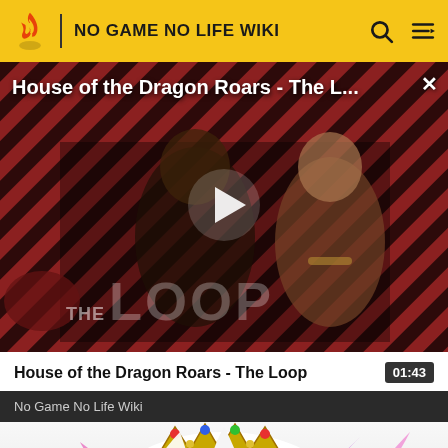NO GAME NO LIFE WIKI
[Figure (screenshot): Video player showing House of the Dragon Roars - The Loop, with two characters on a diagonal striped red/dark background and a play button in the center. THE LOOP logo visible at bottom left.]
House of the Dragon Roars - The Loop
01:43
No Game No Life Wiki
[Figure (illustration): Partial view of an anime character with colorful crown/hair at bottom of page]